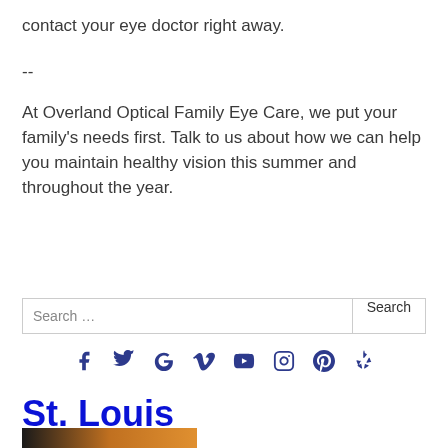contact your eye doctor right away.
--
At Overland Optical Family Eye Care, we put your family's needs first. Talk to us about how we can help you maintain healthy vision this summer and throughout the year.
[Figure (other): Search bar with text input field labeled 'Search ...' and a Search button]
[Figure (other): Row of social media icons: Facebook, Twitter, Google, Vimeo, YouTube, Instagram, Pinterest, Yelp]
St. Louis
[Figure (photo): Bottom portion of a photo showing dark and orange/amber tones, partially visible]